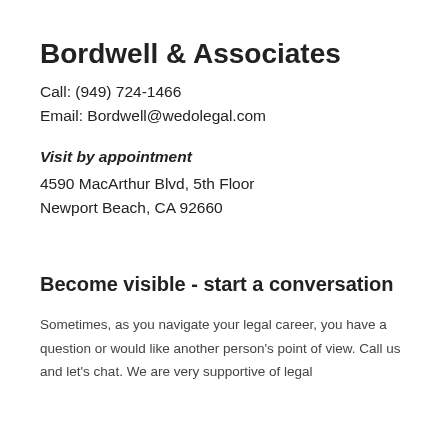Bordwell & Associates
Call:  (949) 724-1466
Email:  Bordwell@wedolegal.com
Visit by appointment
4590 MacArthur Blvd, 5th Floor
Newport Beach, CA  92660
Become visible - start a conversation
Sometimes, as you navigate your legal career, you have a question or would like another person's point of view.  Call us and let's chat.  We are very supportive of legal